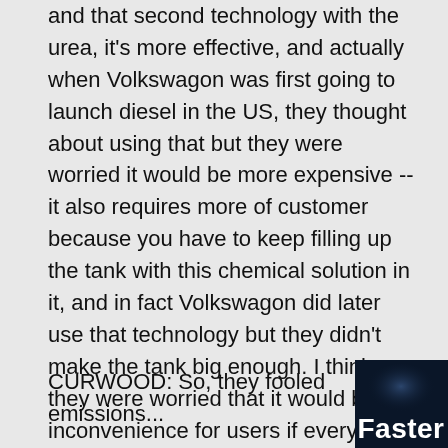and that second technology with the urea, it's more effective, and actually when Volkswagon was first going to launch diesel in the US, they thought about using that but they were worried it would be more expensive -- it also requires more of customer because you have to keep filling up the tank with this chemical solution in it, and in fact Volkswagon did later use that technology but they didn't make the tank big enough. I think they were worried that it would be an inconvenience for users if every 6,000 miles they had to fill the tank up, plus it would rob space from the trunk, and that was less of a problem for Mercedes and BMW because those tend to be bigger cars.
CURWOOD: So, they fooled emissions...
[Figure (photo): Dark blue/black background image with bold white text reading 'Faster']